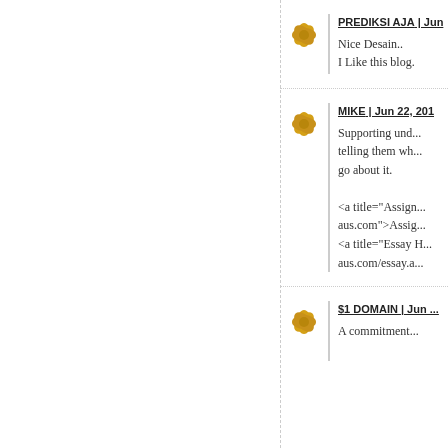PREDIKSI AJA | Jun
Nice Desain..
I Like this blog.
MIKE | Jun 22, 201
Supporting und... telling them wh... go about it.
<a title="Assign... aus.com">Assig...
<a title="Essay H... aus.com/essay.a...
$1 DOMAIN | Jun ...
A commitment...